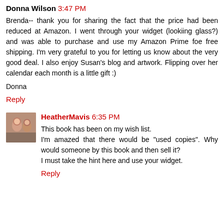Donna Wilson 3:47 PM
Brenda-- thank you for sharing the fact that the price had been reduced at Amazon. I went through your widget (lookiing glass?) and was able to purchase and use my Amazon Prime foe free shipping. I'm very grateful to you for letting us know about the very good deal. I also enjoy Susan's blog and artwork. Flipping over her calendar each month is a little gift :)
Donna
Reply
HeatherMavis 6:35 PM
This book has been on my wish list.
I'm amazed that there would be "used copies". Why would someone by this book and then sell it?
I must take the hint here and use your widget.
Reply